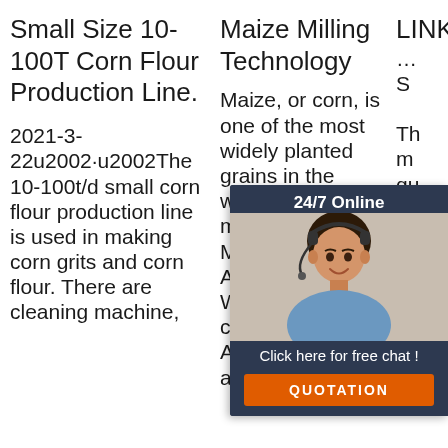Small Size 10-100T Corn Flour Production Line.
2021-3-22u2002·u2002The 10-100t/d small corn flour production line is used in making corn grits and corn flour. There are cleaning machine,
Maize Milling Technology
Maize, or corn, is one of the most widely planted grains in the world. It is the main grain crop in Mexico, Brazil, Argentina, etc. While other countries like America, China, and
LINKING 3000W Professional G…
… S Th m qu iro fo bean curd, starch, rice flour, corn and used in other food industries.
[Figure (other): Chat widget overlay with woman wearing headset, '24/7 Online' text, 'Click here for free chat!' text, and orange QUOTATION button]